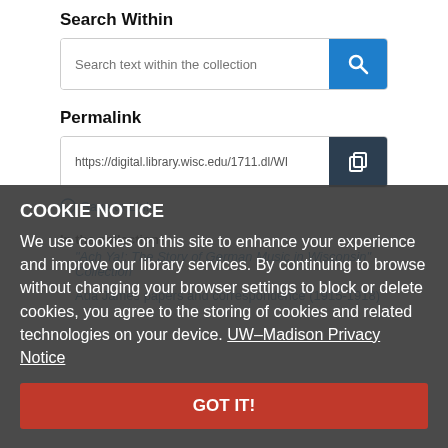Search Within
Search text within the collection
Permalink
https://digital.library.wisc.edu/1711.dl/WI
Save to Links
In the collection
"Ach Ya!: The Story of German Music in Wisconsin" Collection
Ada James papers and correspondence (1915-1918)
COOKIE NOTICE
We use cookies on this site to enhance your experience and improve our library services. By continuing to browse without changing your browser settings to block or delete cookies, you agree to the storing of cookies and related technologies on your device. UW–Madison Privacy Notice
GOT IT!